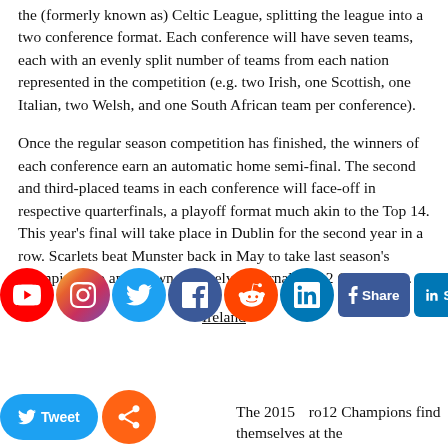the (formerly known as) Celtic League, splitting the league into a two conference format. Each conference will have seven teams, each with an evenly split number of teams from each nation represented in the competition (e.g. two Irish, one Scottish, one Italian, two Welsh, and one South African team per conference).
Once the regular season competition has finished, the winners of each conference earn an automatic home semi-final. The second and third-placed teams in each conference will face-off in respective quarterfinals, a playoff format much akin to the Top 14. This year's final will take place in Dublin for the second year in a row. Scarlets beat Munster back in May to take last season's championship and crown themselves eternal Pro12 Champions.
Ireland
[Figure (infographic): Social media share buttons: YouTube, Instagram, Twitter, Facebook, Reddit, LinkedIn icons in circles, plus Facebook Share and LinkedIn Share buttons]
The 2015 Pro12 Champions find themselves at the